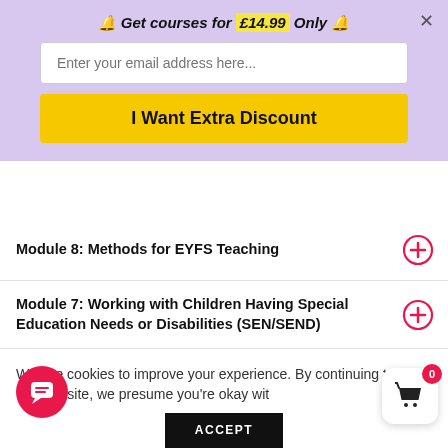🔔 Get courses for £14.99 Only 🔔
Enter your email address here...
I Want Extra Discount
Module 8: Methods for EYFS Teaching
Module 7: Working with Children Having Special Education Needs or Disabilities (SEN/SEND)
Module 8: EYFS and Educational Philosophies and Exemptions to the EYFS
We use cookies to improve your experience. By continuing to use this website, we presume you're okay with
ACCEPT